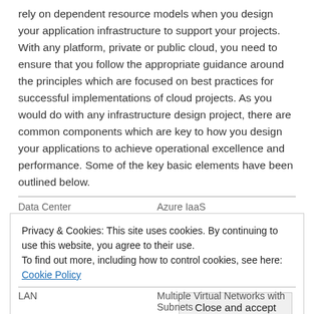rely on dependent resource models when you design your application infrastructure to support your projects. With any platform, private or public cloud, you need to ensure that you follow the appropriate guidance around the principles which are focused on best practices for successful implementations of cloud projects. As you would do with any infrastructure design project, there are common components which are key to how you design your applications to achieve operational excellence and performance. Some of the key basic elements have been outlined below.
| Data Center | Azure IaaS |
| --- | --- |
| LAN | Multiple Virtual Networks with Subnets |
Privacy & Cookies: This site uses cookies. By continuing to use this website, you agree to their use.
To find out more, including how to control cookies, see here: Cookie Policy